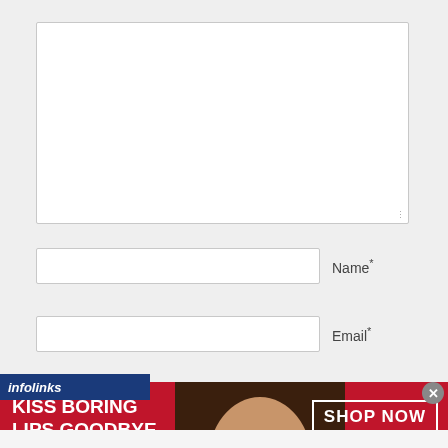[Figure (screenshot): A web form with a large textarea input box with resize handle in bottom right corner]
Name *
Email *
[Figure (illustration): Infolinks advertisement banner for Macy's: 'KISS BORING LIPS GOODBYE' with a woman's face photo and 'SHOP NOW ★macys' button on dark red background]